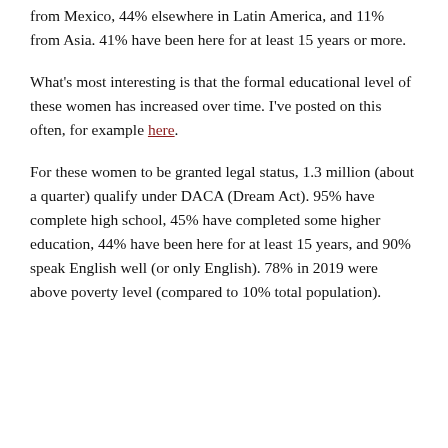from Mexico, 44% elsewhere in Latin America, and 11% from Asia. 41% have been here for at least 15 years or more.
What's most interesting is that the formal educational level of these women has increased over time. I've posted on this often, for example here.
For these women to be granted legal status, 1.3 million (about a quarter) qualify under DACA (Dream Act). 95% have complete high school, 45% have completed some higher education, 44% have been here for at least 15 years, and 90% speak English well (or only English). 78% in 2019 were above poverty level (compared to 10% total population).